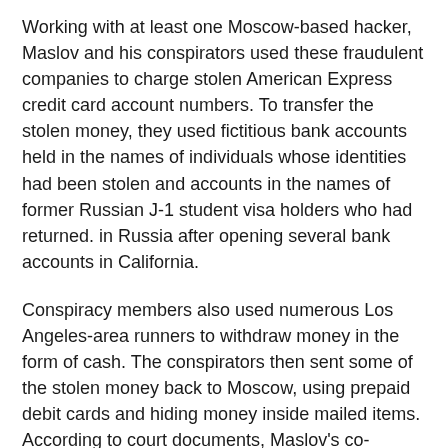Working with at least one Moscow-based hacker, Maslov and his conspirators used these fraudulent companies to charge stolen American Express credit card account numbers. To transfer the stolen money, they used fictitious bank accounts held in the names of individuals whose identities had been stolen and accounts in the names of former Russian J-1 student visa holders who had returned. in Russia after opening several bank accounts in California.
Conspiracy members also used numerous Los Angeles-area runners to withdraw money in the form of cash. The conspirators then sent some of the stolen money back to Moscow, using prepaid debit cards and hiding money inside mailed items. According to court documents, Maslov's co-defendant, Kirilyuk, has a history of corporate cyber intrusion dating back to at least 2003.
Maslov, Kirilyuk and Melkonyan all fled to avoid prosecution. Kirilyuk was apprehended in Mexico and arrested by FBI agents after being airlifted to San Francisco. Melkonyan was apprehended in California after returning to the United States. Maslov was apprehended in